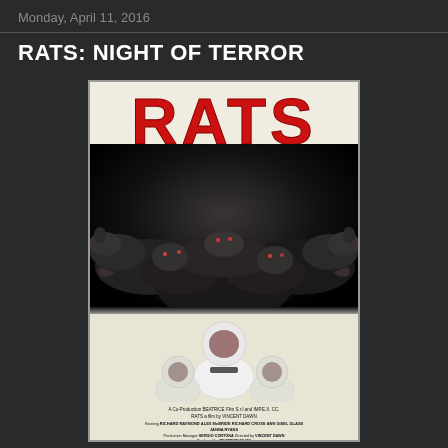Monday, April 11, 2016
RATS: NIGHT OF TERROR
[Figure (photo): VHS/movie poster for 'RATS: Night of Terror' showing large red stylized RATS title at top, a dark mass of rats in the middle, and figures in white hazmat suits at the bottom, with credits text at the very bottom including A Co-Production BEATRICE Film S.r.l and IMP.E.X. CC., RATS a film by VINCENT DAWN, Starring RICHARD RAYMOND ALEX McBRIDE RICHARD CROSS ANN GISEL GLASS JANNA RYANS, Production Manager SERGIO CORTONA, Directed by VINCENT DAWN, Produced by BEATRICE FILMS]